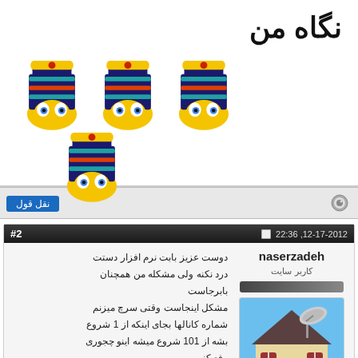نگاه من
[Figure (illustration): Four cartoon pharaoh emoji faces arranged in a 3+1 grid pattern]
نقل قول
#2   12-17-2012, 22:36
naserzadeh
کاربر سایت
دوست عزیز بابت نرم افزار دستت درد نکنه ولی مشکله من همچنان بابرجاست
مشکل اینجاست وقتی سرچ میزنم شماره کانالها بجای اینکه از 1 شروع بشه از 101 شروع میشه اینو چجوری رفع کنم
[Figure (illustration): Cartoon house with satellite dish on rooftop, blue sky background]